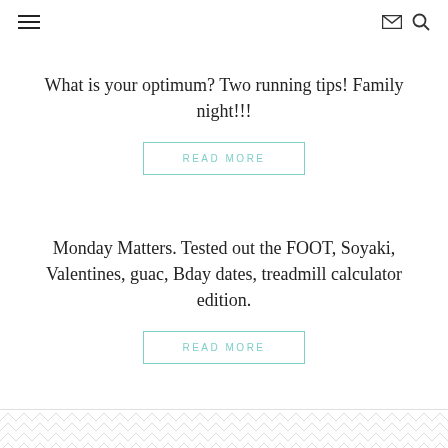Navigation header with hamburger menu, envelope icon, and search icon
What is your optimum? Two running tips! Family night!!!
READ MORE
Monday Matters. Tested out the FOOT, Soyaki, Valentines, guac, Bday dates, treadmill calculator edition.
READ MORE